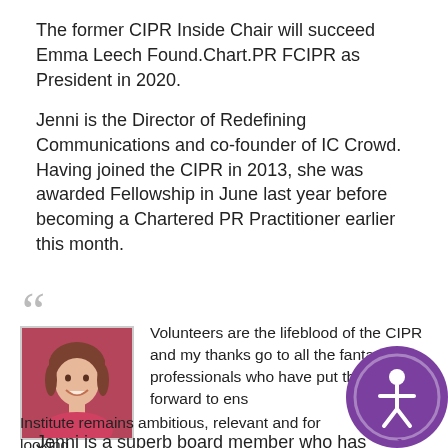The former CIPR Inside Chair will succeed Emma Leech Found.Chart.PR FCIPR as President in 2020.
Jenni is the Director of Redefining Communications and co-founder of IC Crowd. Having joined the CIPR in 2013, she was awarded Fellowship in June last year before becoming a Chartered PR Practitioner earlier this month.
[Figure (photo): Portrait photo of a woman with bangs, smiling, on a dark red/pink background]
Volunteers are the lifeblood of the CIPR and my thanks go to all the fantastic professionals who have put themselves forward to ens[ure the] Institute remains ambitious, relevant and for[ward-] looking.
Jenni is a superb board member who has brought